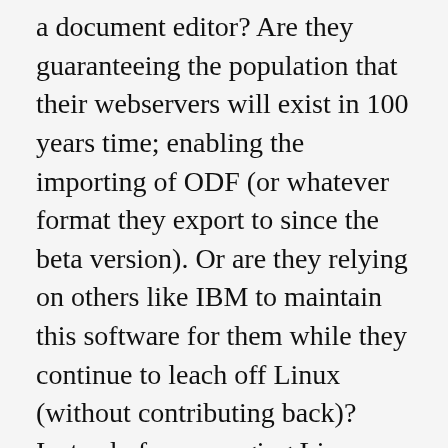a document editor? Are they guaranteeing the population that their webservers will exist in 100 years time; enabling the importing of ODF (or whatever format they export to since the beta version). Or are they relying on others like IBM to maintain this software for them while they continue to leach off Linux (without contributing back)? Instead of encouraging Linux print drivers (or standardising them) they create their own. If they had invested rationally the Office monopoly would be history by now. Apache OpenOffice is presently the only utility that is